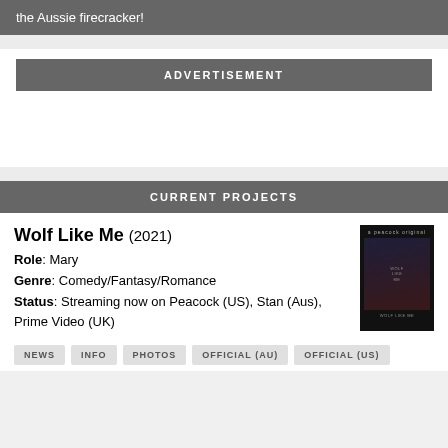the Aussie firecracker!
ADVERTISEMENT
CURRENT PROJECTS
Wolf Like Me (2021)
Role: Mary
Genre: Comedy/Fantasy/Romance
Status: Streaming now on Peacock (US), Stan (Aus), Prime Video (UK)
[Figure (photo): Movie poster for Wolf Like Me (2021) showing dark background with figures]
NEWS
INFO
PHOTOS
OFFICIAL (AU)
OFFICIAL (US)